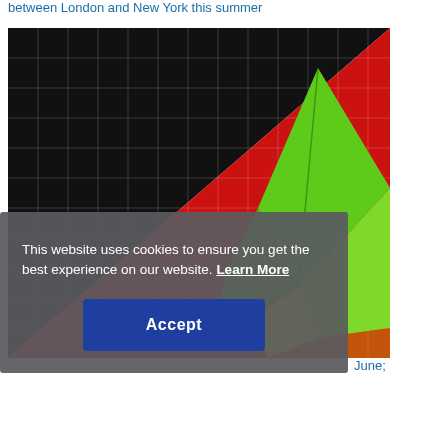between London and New York this summer
[Figure (photo): A paper airplane (green and yellow origami) flying over a red and black gridded background]
This website uses cookies to ensure you get the best experience on our website. Learn More
Accept
June;